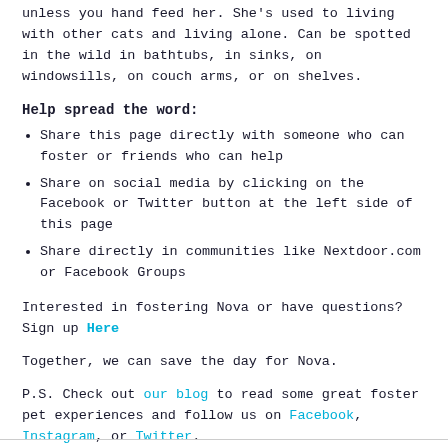unless you hand feed her. She's used to living with other cats and living alone. Can be spotted in the wild in bathtubs, in sinks, on windowsills, on couch arms, or on shelves.
Help spread the word:
Share this page directly with someone who can foster or friends who can help
Share on social media by clicking on the Facebook or Twitter button at the left side of this page
Share directly in communities like Nextdoor.com or Facebook Groups
Interested in fostering Nova or have questions? Sign up Here
Together, we can save the day for Nova.
P.S. Check out our blog to read some great foster pet experiences and follow us on Facebook, Instagram, or Twitter.